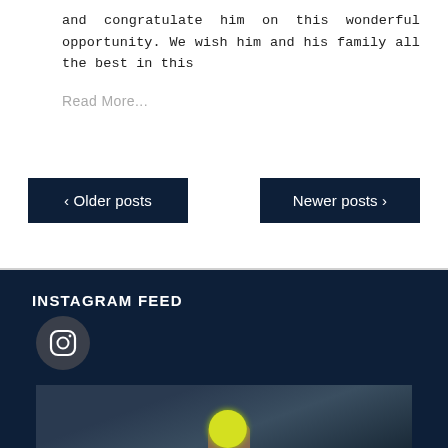and congratulate him on this wonderful opportunity. We wish him and his family all the best in this
Read More...
‹ Older posts
Newer posts ›
INSTAGRAM FEED
[Figure (logo): Instagram icon in a dark circle]
[Figure (photo): A person holding a yellow tennis ball, shown from below against a blurred background]